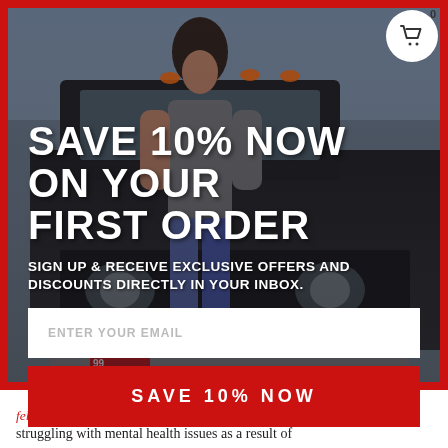[Figure (photo): Woman in gray t-shirt and jeans leaning against a vintage black pickup truck with orange rooftop lights. Red license plate partially visible. Background shows outdoor scene.]
SAVE 10% NOW ON YOUR FIRST ORDER
SIGN UP & RECEIVE EXCLUSIVE OFFERS AND DISCOUNTS DIRECTLY IN YOUR INBOX.
ENTER YOUR EMAIL
SAVE 10% NOW
fellow veterans and first responders who are struggling with mental health issues as a result of their service...